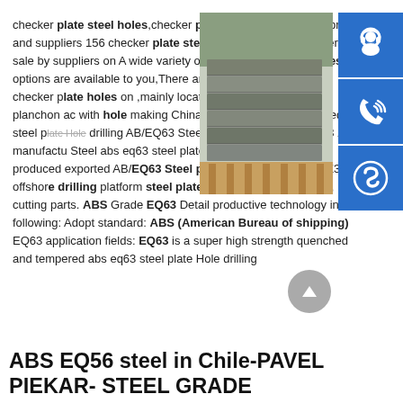checker plate steel holes,checker plate steel holes . About product and suppliers 156 checker plate steel holes products are offered for sale by suppliers on A wide variety of checker plate steel holes options are available to you,There are 24 suppliers who sells checker plate holes on ,mainly located in Asia.. a36 hot rolled planchon acero with hole making China China Steel Plates abs eq63 steel plate Hole drilling AB/EQ63 Steel plate | ABS Grade EQ63 Z35 manufacturer Steel abs eq63 steel plate Hole drillingGangsteel produced exported AB/EQ63 Steel plate, ABS Grade EQ63 Z35 offshore drilling platform steel plate, flat bar, machined parts, cutting parts. ABS Grade EQ63 Detail productive technology in the following: Adopt standard: ABS (American Bureau of shipping) EQ63 application fields: EQ63 is a super high strength quenched and tempered abs eq63 steel plate Hole drilling
[Figure (photo): Stack of steel plates/flat bars on a pallet, outdoor industrial setting]
[Figure (infographic): Three blue sidebar icon buttons: headset/customer support icon, phone/call icon, Skype icon]
ABS EQ56 steel in Chile-PAVEL PIEKAR- STEEL GRADE